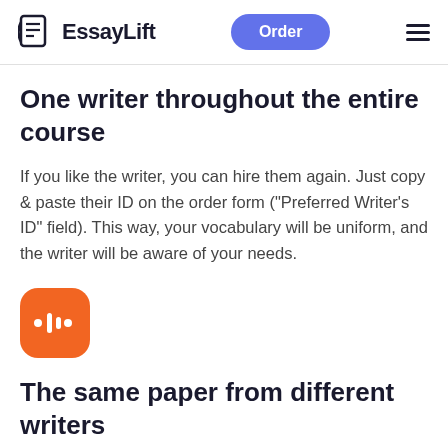EssayLift | Order
One writer throughout the entire course
If you like the writer, you can hire them again. Just copy & paste their ID on the order form ("Preferred Writer's ID" field). This way, your vocabulary will be uniform, and the writer will be aware of your needs.
[Figure (logo): Orange rounded square icon with a waveform/audio symbol in white]
The same paper from different writers